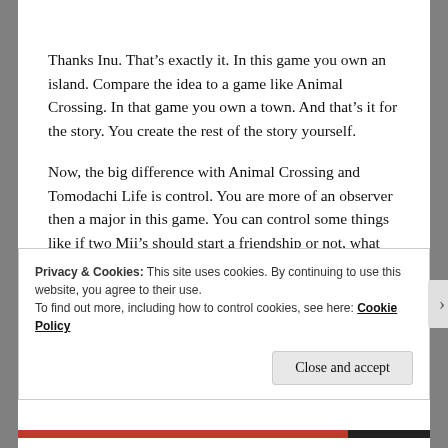Thanks Inu. That’s exactly it. In this game you own an island. Compare the idea to a game like Animal Crossing. In that game you own a town. And that’s it for the story. You create the rest of the story yourself.
Now, the big difference with Animal Crossing and Tomodachi Life is control. You are more of an observer then a major in this game. You can control some things like if two Mii’s should start a friendship or not, what they eat or where their room is. But that’s really it.
Privacy & Cookies: This site uses cookies. By continuing to use this website, you agree to their use.
To find out more, including how to control cookies, see here: Cookie Policy